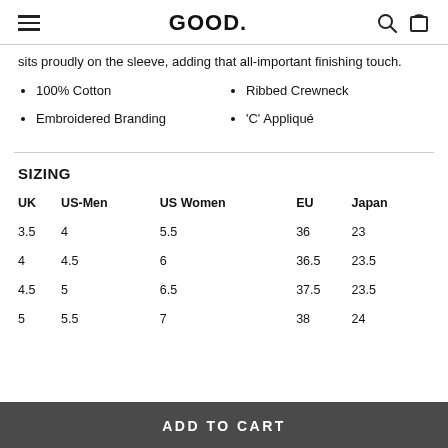GOOD.
sits proudly on the sleeve, adding that all-important finishing touch.
100% Cotton
Embroidered Branding
Ribbed Crewneck
'C' Appliqué
SIZING
| UK | US-Men | US Women | EU | Japan |
| --- | --- | --- | --- | --- |
| 3.5 | 4 | 5.5 | 36 | 23 |
| 4 | 4.5 | 6 | 36.5 | 23.5 |
| 4.5 | 5 | 6.5 | 37.5 | 23.5 |
| 5 | 5.5 | 7 | 38 | 24 |
ADD TO CART